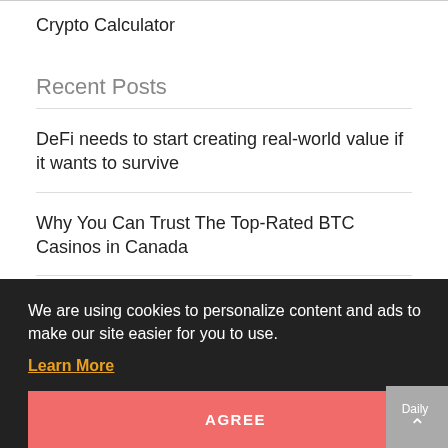Crypto Calculator
Recent Posts
DeFi needs to start creating real-world value if it wants to survive
Why You Can Trust The Top-Rated BTC Casinos in Canada
BlockFi tops revenue grower list with 250,000% increase, BitGo aims to sue Galaxy Digital, and Bitcoin's price drops: Hodler's
We are using cookies to personalize content and ads to make our site easier for you to use.
Learn More
AGREE